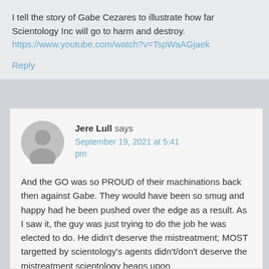I tell the story of Gabe Cezares to illustrate how far Scientology Inc will go to harm and destroy. https://www.youtube.com/watch?v=TspWaAGjaek
Reply
Jere Lull says
September 19, 2021 at 5:41 pm
And the GO was so PROUD of their machinations back then against Gabe. They would have been so smug and happy had he been pushed over the edge as a result. As I saw it, the guy was just trying to do the job he was elected to do. He didn't deserve the mistreatment; MOST targetted by scientology's agents didn't/don't deserve the mistreatment scientology heaps upon